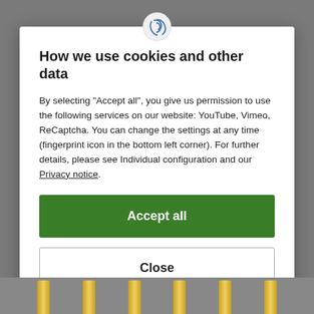[Figure (screenshot): Website navigation bar with hamburger menu, Youlind logo (orange/yellow shield icon), fingerprint icon, and right-side icons (user, heart, bell)]
How we use cookies and other data
By selecting "Accept all", you give us permission to use the following services on our website: YouTube, Vimeo, ReCaptcha. You can change the settings at any time (fingerprint icon in the bottom left corner). For further details, please see Individual configuration and our Privacy notice.
Accept all
Close
Configuration